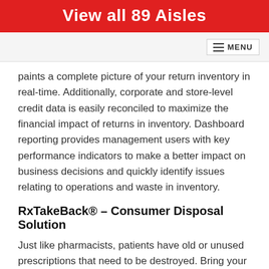View all 89 Aisles
paints a complete picture of your return inventory in real-time. Additionally, corporate and store-level credit data is easily reconciled to maximize the financial impact of returns in inventory. Dashboard reporting provides management users with key performance indicators to make a better impact on business decisions and quickly identify issues relating to operations and waste in inventory.
RxTakeBack® – Consumer Disposal Solution
Just like pharmacists, patients have old or unused prescriptions that need to be destroyed. Bring your customers back to your pharmacy with a compliant and